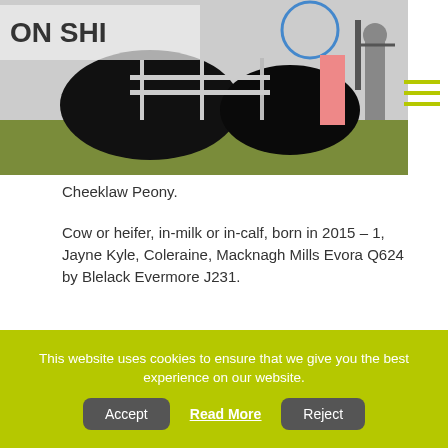[Figure (photo): Cattle being shown at an agricultural show, with a sign partially visible reading 'ON SHI...' in the background, cattle handlers visible, green grass ground]
Cheeklaw Peony.
Cow or heifer, in-milk or in-calf, born in 2015 – 1, Jayne Kyle, Coleraine, Macknagh Mills Evora Q624 by Blelack Evermore J231.
[Figure (photo): A black Aberdeen Angus cow being led by a handler in a white coat at an agricultural show, wearing a red rosette, with a blue sky background]
This website uses cookies to ensure that we give you the best experience on our website.